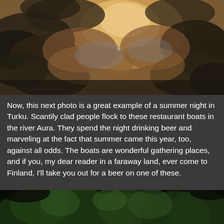[Figure (photo): Dramatic sunset sky with dark storm clouds illuminated in orange and golden tones]
Now, this next photo is a great example of a summer night in Turku. Scantily clad people flock to these restaurant boats in the river Aura. They spend the night drinking beer and marveling at the fact that summer came this year, too, against all odds. The boats are wonderful gathering places, and if you, my dear reader in a faraway land, ever come to Finland, I'll take you out for a beer on one of these.
[Figure (photo): Dark night scene with green leafy trees visible against a dark sky]